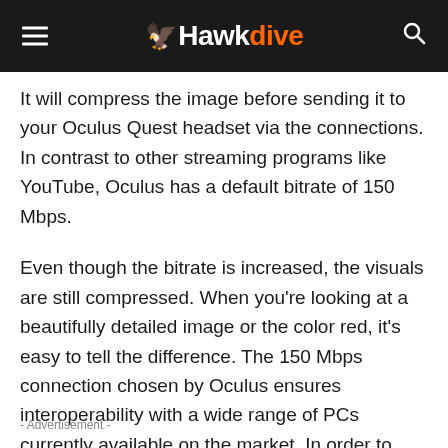Hawkdive
It will compress the image before sending it to your Oculus Quest headset via the connections. In contrast to other streaming programs like YouTube, Oculus has a default bitrate of 150 Mbps.
Even though the bitrate is increased, the visuals are still compressed. When you're looking at a beautifully detailed image or the color red, it's easy to tell the difference. The 150 Mbps connection chosen by Oculus ensures interoperability with a wide range of PCs currently available on the market. In order to improve the visual quality, you can easily boost the bitrate if you have a more powerful PC.
- Advertisement -